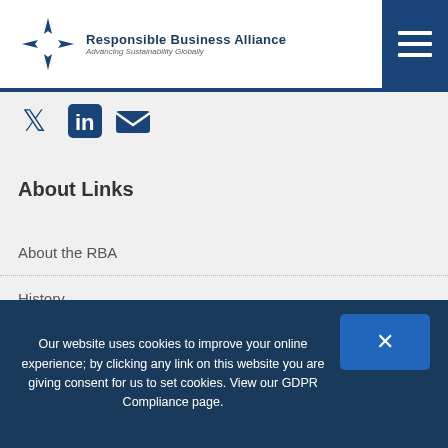Responsible Business Alliance — Advancing Sustainability Globally
[Figure (logo): Social media icons: Twitter, LinkedIn, Email]
About Links
About the RBA
History
Board of Directors
Members
Staff
Our website uses cookies to improve your online experience; by clicking any link on this website you are giving consent for us to set cookies. View our GDPR Compliance page.